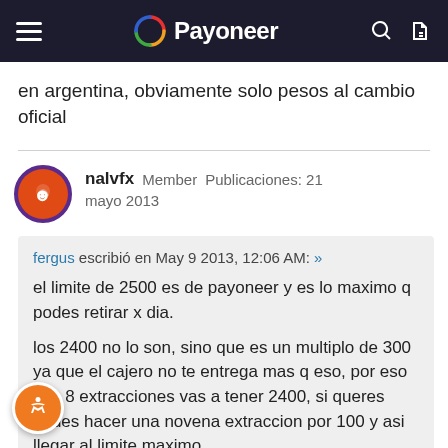Payoneer
en argentina, obviamente solo pesos al cambio oficial
nalvfx  Member  Publicaciones: 21
mayo 2013
fergus escribió en May 9 2013, 12:06 AM: »
el limite de 2500 es de payoneer y es lo maximo q podes retirar x dia.
los 2400 no lo son, sino que es un multiplo de 300 ya que el cajero no te entrega mas q eso, por eso con 8 extracciones vas a tener 2400, si queres podes hacer una novena extraccion por 100 y asi llegar al limite maximo.